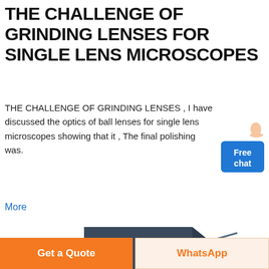THE CHALLENGE OF GRINDING LENSES FOR SINGLE LENS MICROSCOPES
THE CHALLENGE OF GRINDING LENSES , I have discussed the optics of ball lenses for single lens microscopes showing that it , The final polishing was.
[Figure (illustration): Blue chat widget with 'Free chat' text and a person/assistant icon]
More
[Figure (photo): Industrial grinding/milling machine in dark blue/grey color with red circular base component and bolted panels]
Get a Quote
WhatsApp